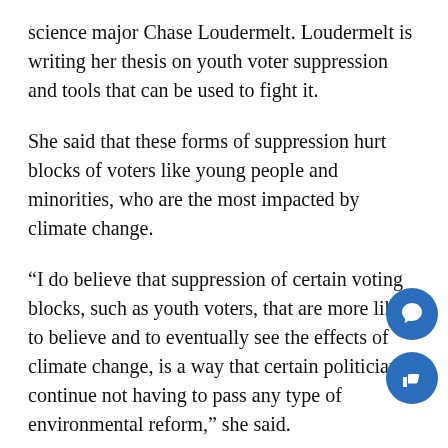science major Chase Loudermelt. Loudermelt is writing her thesis on youth voter suppression and tools that can be used to fight it.
She said that these forms of suppression hurt blocks of voters like young people and minorities, who are the most impacted by climate change.
“I do believe that suppression of certain voting blocks, such as youth voters, that are more likely to believe and to eventually see the effects of climate change, is a way that certain politicians continue not having to pass any type of environmental reform,” she said.
She also attributes money thrown at politicians by companies to the lack of reform.
“I think that disenfranchisement of voters is a pie…